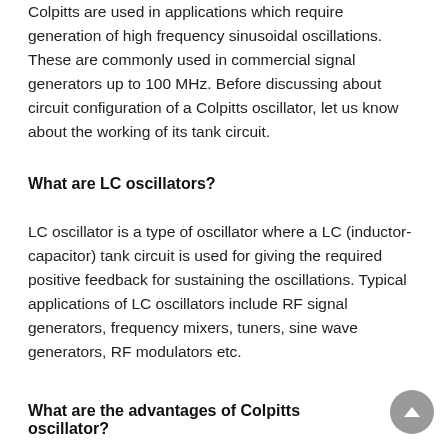Colpitts are used in applications which require generation of high frequency sinusoidal oscillations. These are commonly used in commercial signal generators up to 100 MHz. Before discussing about circuit configuration of a Colpitts oscillator, let us know about the working of its tank circuit.
What are LC oscillators?
LC oscillator is a type of oscillator where a LC (inductor-capacitor) tank circuit is used for giving the required positive feedback for sustaining the oscillations. Typical applications of LC oscillators include RF signal generators, frequency mixers, tuners, sine wave generators, RF modulators etc.
What are the advantages of Colpitts oscillator?